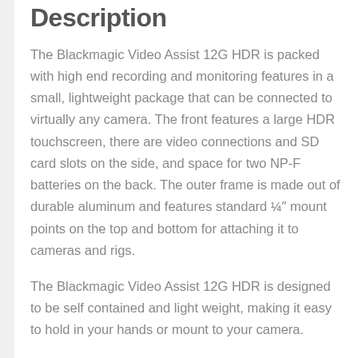Description
The Blackmagic Video Assist 12G HDR is packed with high end recording and monitoring features in a small, lightweight package that can be connected to virtually any camera. The front features a large HDR touchscreen, there are video connections and SD card slots on the side, and space for two NP-F batteries on the back. The outer frame is made out of durable aluminum and features standard ¼″ mount points on the top and bottom for attaching it to cameras and rigs.
The Blackmagic Video Assist 12G HDR is designed to be self contained and light weight, making it easy to hold in your hands or mount to your camera.
Product Features